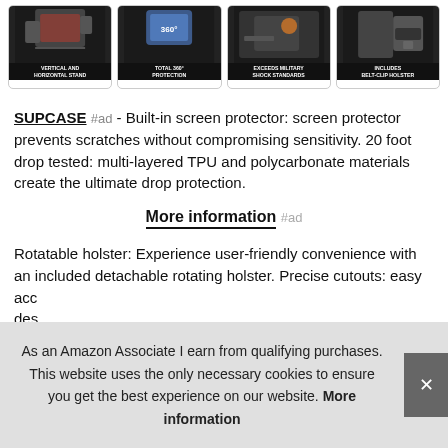[Figure (photo): Four product photos of phone cases in a horizontal strip. Labels: 'VERTICAL AND HORIZONTAL STAND', 'TOTAL 360 PROTECTION', 'EXCEEDS MILITARY SHOCK STANDARDS', 'INCLUDES BELT-CLIP HOLSTER']
SUPCASE #ad - Built-in screen protector: screen protector prevents scratches without compromising sensitivity. 20 foot drop tested: multi-layered TPU and polycarbonate materials create the ultimate drop protection.
More information #ad
Rotatable holster: Experience user-friendly convenience with an included detachable rotating holster. Precise cutouts: easy access to all ports and features without removing the case designed for convenience.
As an Amazon Associate I earn from qualifying purchases. This website uses the only necessary cookies to ensure you get the best experience on our website. More information